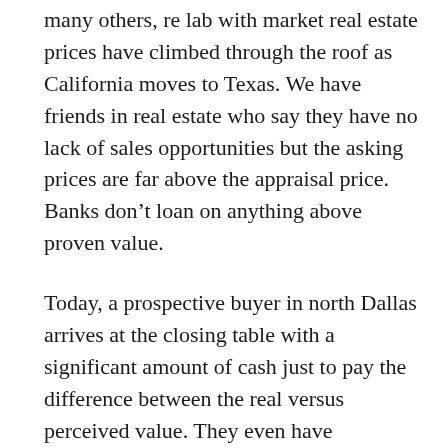many others, re lab with market real estate prices have climbed through the roof as California moves to Texas. We have friends in real estate who say they have no lack of sales opportunities but the asking prices are far above the appraisal price. Banks don't loan on anything above proven value.
Today, a prospective buyer in north Dallas arrives at the closing table with a significant amount of cash just to pay the difference between the real versus perceived value. They even have something real estate agents call “Love Letters” which are buyers trying to pull at the heart strings of a home owner to persuade them the sell.
What a terribly wonderful problem to have as a seller. Still if I sold tomorrow I’d have to pay twice as much to move to a similar property unless I buy a